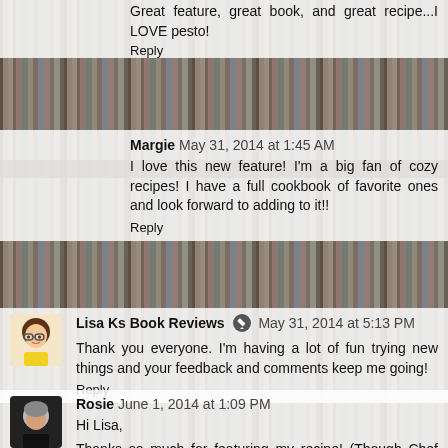Great feature, great book, and great recipe...I LOVE pesto!
Reply
Margie  May 31, 2014 at 1:45 AM
I love this new feature! I'm a big fan of cozy recipes! I have a full cookbook of favorite ones and look forward to adding to it!!
Reply
Lisa Ks Book Reviews  May 31, 2014 at 5:13 PM
Thank you everyone. I'm having a lot of fun trying new things and your feedback and comments keep me going!
Reply
Rosie  June 1, 2014 at 1:09 PM
Hi Lisa,
Thanks so much for featuring my recipe! (Though Chef Tim